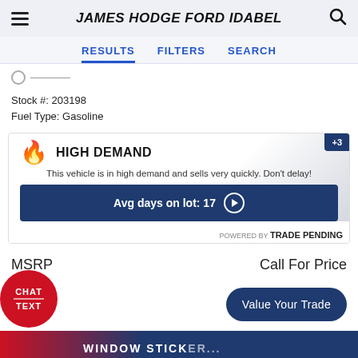JAMES HODGE FORD IDABEL
RESULTS   FILTERS   SEARCH
Stock #: 203198
Fuel Type: Gasoline
[Figure (infographic): High Demand badge with flame emoji, text 'This vehicle is in high demand and sells very quickly. Don't delay!', blue bar showing 'Avg days on lot: 17', '+3' badge, powered by TRADE PENDING]
MSRP   Call For Price
Value Your Trade
WINDOW STICK...
CHAT / TEXT  [location icon]  [phone icon]